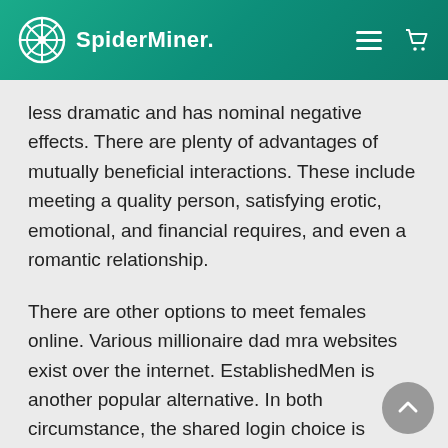SpiderMiner.
less dramatic and has nominal negative effects. There are plenty of advantages of mutually beneficial interactions. These include meeting a quality person, satisfying erotic, emotional, and financial requires, and even a romantic relationship.
There are other options to meet females online. Various millionaire dad mra websites exist over the internet. EstablishedMen is another popular alternative. In both circumstance, the shared login choice is recommended. In addition, it provides a safe and sound environment for the purpose of both parties. The web site is designed with discretion in mind and suspends advanced cyber daddy measures to hold users safe. By utilizing a mutually beneficial arrangement program, a woman may